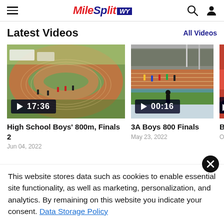MileSplit WY
Latest Videos
All Videos
[Figure (screenshot): Video thumbnail of high school track race on red oval track, duration 17:36]
High School Boys' 800m, Finals 2
Jun 04, 2022
[Figure (screenshot): Video thumbnail of 3A Boys 800 Finals track race with stadium crowd, duration 00:16]
3A Boys 800 Finals
May 23, 2022
[Figure (screenshot): Partially visible third video thumbnail, duration partially visible]
Boy...
Oct
This website stores data such as cookies to enable essential site functionality, as well as marketing, personalization, and analytics. By remaining on this website you indicate your consent. Data Storage Policy